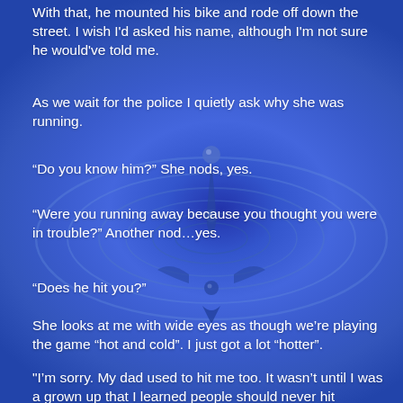With that, he mounted his bike and rode off down the street. I wish I'd asked his name, although I'm not sure he would've told me.
As we wait for the police I quietly ask why she was running.
“Do you know him?” She nods, yes.
“Were you running away because you thought you were in trouble?” Another nod…yes.
“Does he hit you?”
She looks at me with wide eyes as though we're playing the game “hot and cold”. I just got a lot “hotter”.
"I'm sorry. My dad used to hit me too. It wasn't until I was a grown up that I learned people should never hit children.